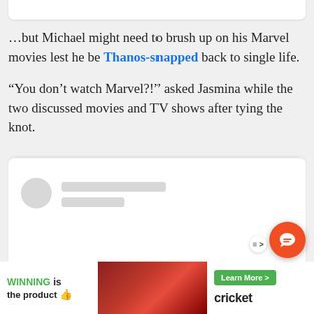…but Michael might need to brush up on his Marvel movies lest he be Thanos-snapped back to single life.
“You don’t watch Marvel?!” asked Jasmina while the two discussed movies and TV shows after tying the knot.
[Figure (screenshot): Loading placeholder card with avatar circle and grey content lines]
[Figure (screenshot): Advertisement banner: 'WINNING is the product' with marching band image and Cricket Wireless 'Learn More' button]